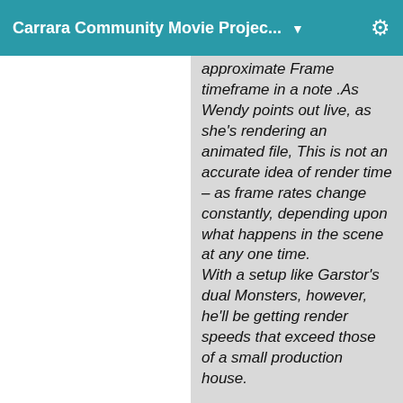Carrara Community Movie Projec... ▼
approximate Frame timeframe in a note .As Wendy points out live, as she's rendering an animated file, This is not an accurate idea of render time – as frame rates change constantly, depending upon what happens in the scene at any one time.
With a setup like Garstor's dual Monsters, however, he'll be getting render speeds that exceed those of a small production house.